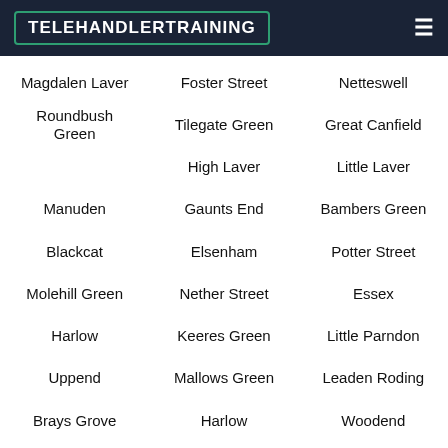TELEHANDLERTRAINING
Magdalen Laver
Foster Street
Netteswell
Roundbush Green
Tilegate Green
Great Canfield
High Laver
Little Laver
Manuden
Gaunts End
Bambers Green
Blackcat
Elsenham
Potter Street
Molehill Green
Nether Street
Essex
Harlow
Keeres Green
Little Parndon
Uppend
Mallows Green
Leaden Roding
Brays Grove
Harlow
Woodend